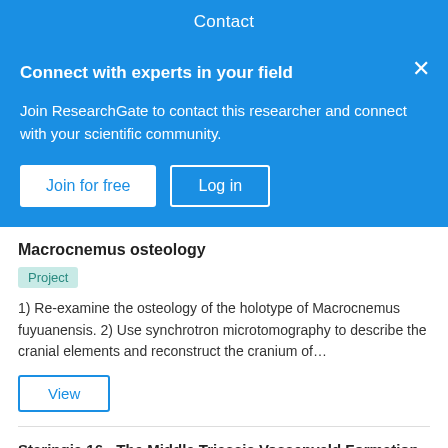Contact
Connect with experts in your field
Join ResearchGate to contact this researcher and connect with your scientific community.
Join for free
Log in
Macrocnemus osteology
Project
1) Re-examine the osteology of the holotype of Macrocnemus fuyuanensis. 2) Use synchrotron microtomography to describe the cranial elements and reconstruct the cranium of…
View
Staringia 16 - The Middle Triassic Vossenveld Formation in Winterswijk. A uniquely preserved ecosystem along the western shore of the Muschelkalk Sea.